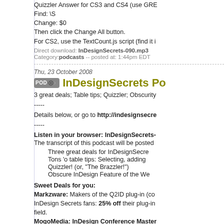Quizzler Answer for CS3 and CS4 (use GREP): Find: \S Change: $0 Then click the Change All button. For CS2, use the TextCount.js script (find it i
Direct download: InDesignSecrets-090.mp3
Category: podcasts -- posted at: 1:44pm EDT
Thu, 23 October 2008
InDesignSecrets Po
3 great deals; Table tips; Quizzler; Obscurity
-----
Details below, or go to http://indesignsecre
-----
Listen in your browser: InDesignSecrets-
The transcript of this podcast will be posted
Three great deals for InDesignSecre
Tons 'o table tips: Selecting, adding
Quizzler! (or, "The Brazzler!")
Obscure InDesign Feature of the We
Sweet Deals for you: Markzware: Makers of the Q2ID plug-in (co InDesign Secrets fans: 25% off their plug-in field. MogoMedia: InDesign Conference Master 3 or 4-day pass, or $25 off for any full-day tu InDesignSecrets eSeminar: What's New i (PST), plus follow-up Q&A and access to the registration page. --